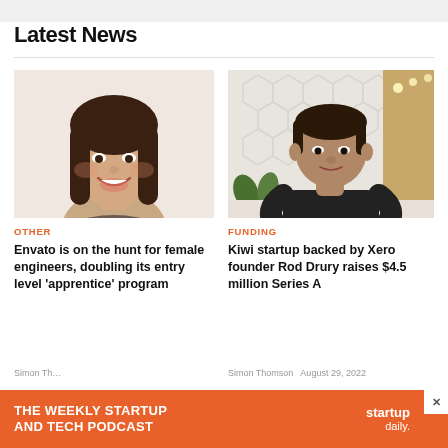Latest News
[Figure (photo): Headshot of a young woman with long dark hair, smiling, against white background]
OTHER
Envato is on the hunt for female engineers, doubling its entry level 'apprentice' program
Simon Th...
[Figure (photo): Man in black t-shirt standing in a modern office with honeycomb wall and wood accents]
FUNDING
Kiwi startup backed by Xero founder Rod Drury raises $4.5 million Series A
Simon Thomson   August 29, 2022
[Figure (infographic): Orange ad banner: THE WEEKLY STARTUP AND TECH PODCAST — startup daily.]